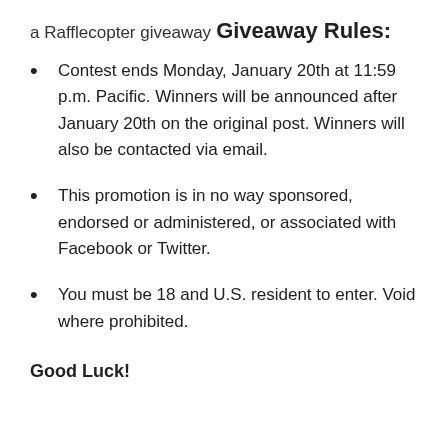a Rafflecopter giveaway
Giveaway Rules:
Contest ends Monday, January 20th at 11:59 p.m. Pacific. Winners will be announced after January 20th on the original post. Winners will also be contacted via email.
This promotion is in no way sponsored, endorsed or administered, or associated with Facebook or Twitter.
You must be 18 and U.S. resident to enter. Void where prohibited.
Good Luck!